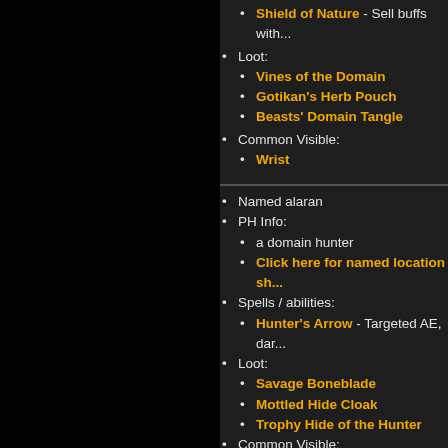Shield of Nature - Sell buffs with...
Loot:
Vines of the Domain
Gotikan's Herb Pouch
Beasts' Domain Tangle
Common Visible:
Wrist
Named alaran
PH Info:
a domain hunter
Click here for named location sh...
Spells / abilities:
Hunter's Arrow - Targeted AE, dar...
Loot:
Savage Boneblade
Mottled Hide Cloak
Trophy Hide of the Hunter
Common Visible:
Head